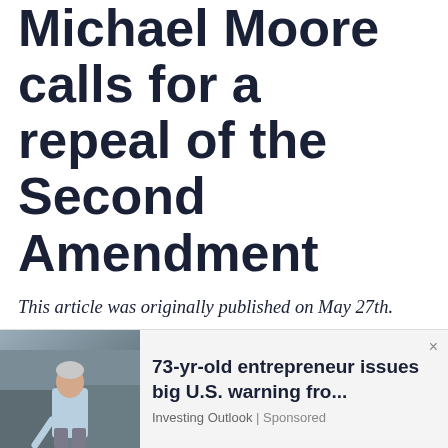Michael Moore calls for a repeal of the Second Amendment
This article was originally published on May 27th.
I generally don't comment on political statements by Hollywood celebrities. But since Michael Moore seems to have some inexplicable influence over the
[Figure (photo): Advertisement overlay showing an elderly man in a light blue shirt outdoors, with ad headline '73-yr-old entrepreneur issues big U.S. warning fro...' from Investing Outlook | Sponsored, with a close (x) button.]